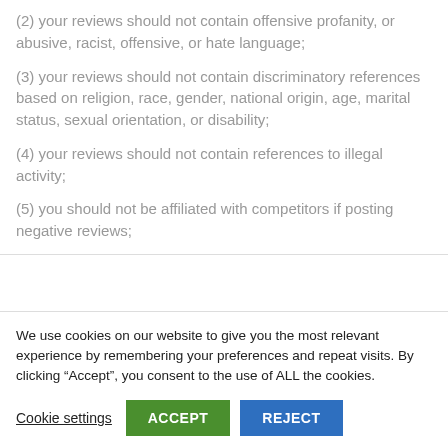(2) your reviews should not contain offensive profanity, or abusive, racist, offensive, or hate language;
(3) your reviews should not contain discriminatory references based on religion, race, gender, national origin, age, marital status, sexual orientation, or disability;
(4) your reviews should not contain references to illegal activity;
(5) you should not be affiliated with competitors if posting negative reviews;
We use cookies on our website to give you the most relevant experience by remembering your preferences and repeat visits. By clicking “Accept”, you consent to the use of ALL the cookies.
Cookie settings  ACCEPT  REJECT